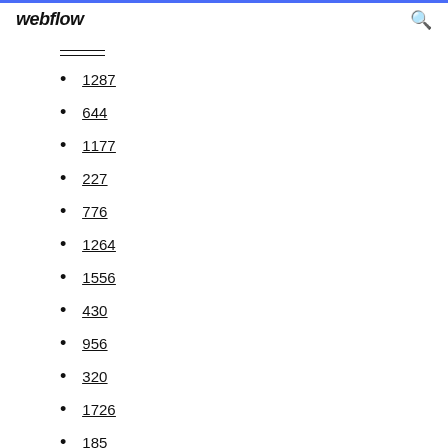webflow
1287
644
1177
227
776
1264
1556
430
956
320
1726
185